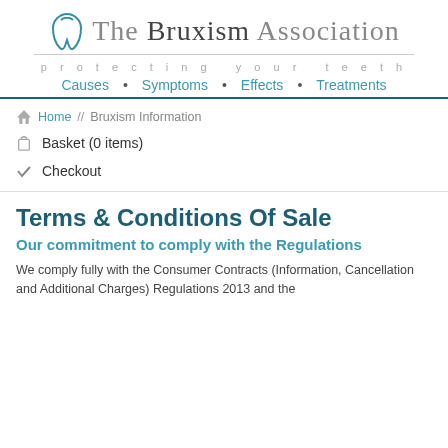[Figure (logo): The Bruxism Association logo with tooth icon and tagline 'protecting your teeth']
Causes • Symptoms • Effects • Treatments
Home // Bruxism Information
Basket (0 items)
Checkout
Terms & Conditions Of Sale
Our commitment to comply with the Regulations
We comply fully with the Consumer Contracts (Information, Cancellation and Additional Charges) Regulations 2013 and the